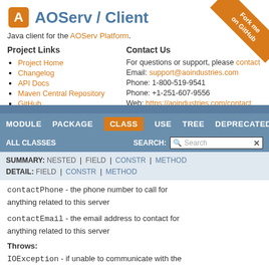AOServ / Client
Java client for the AOServ Platform.
Project Links
Project Home
Changelog
API Docs
Maven Central Repository
GitHub
Contact Us
For questions or support, please contact
Email: support@aoindustries.com
Phone: 1-800-519-9541
Phone: +1-251-607-9556
Web: https://aoindustries.com/contact
MODULE  PACKAGE  CLASS  USE  TREE  DEPRECATED  INDEX
ALL CLASSES
SEARCH:
SUMMARY: NESTED | FIELD | CONSTR | METHOD
DETAIL: FIELD | CONSTR | METHOD
contactPhone - the phone number to call for anything related to this server
contactEmail - the email address to contact for anything related to this server
Throws:
IOException - if unable to communicate with the server
SQLException - if unable to access the database or a data integrity violation occurs